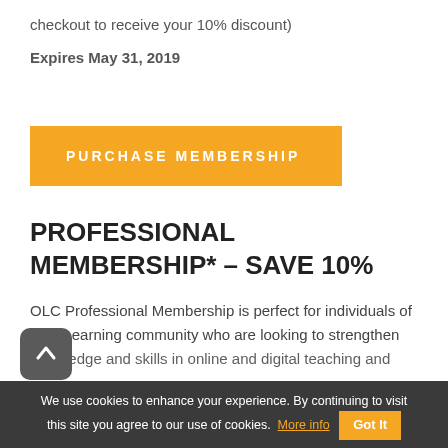checkout to receive your 10% discount)
Expires May 31, 2019
PURCHASE MEMBERSHIP
PROFESSIONAL MEMBERSHIP* – SAVE 10%
OLC Professional Membership is perfect for individuals of the eLearning community who are looking to strengthen knowledge and skills in online and digital teaching and
We use cookies to enhance your experience. By continuing to visit this site you agree to our use of cookies. More info Got It